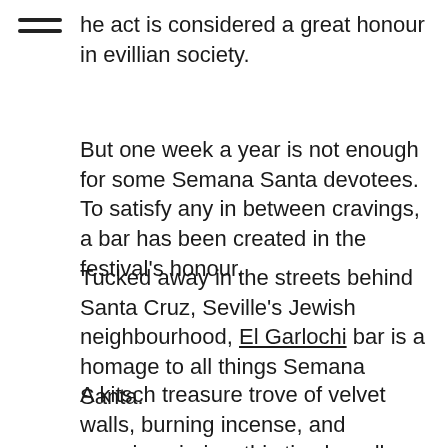he act is considered a great honour in evillian society.
But one week a year is not enough for some Semana Santa devotees.  To satisfy any in between cravings, a bar has been created in the festival's honour.
Tucked away in the streets behind Santa Cruz, Seville's Jewish neighbourhood, El Garlochi bar is a homage to all things Semana Santa.
A kitsch treasure trove of velvet walls, burning incense, and weeping virgins, this tiny bar allows patrons to soak up the atmosphere of Semana Santa all year